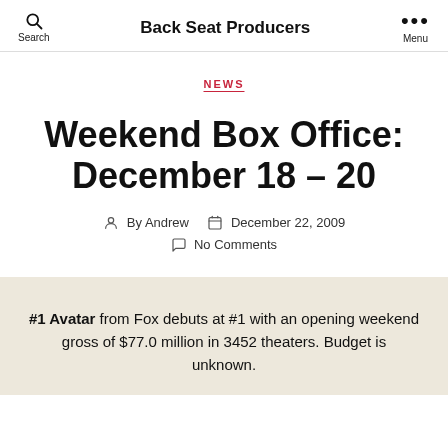Back Seat Producers
NEWS
Weekend Box Office: December 18 – 20
By Andrew  December 22, 2009
No Comments
#1 Avatar from Fox debuts at #1 with an opening weekend gross of $77.0 million in 3452 theaters. Budget is unknown.